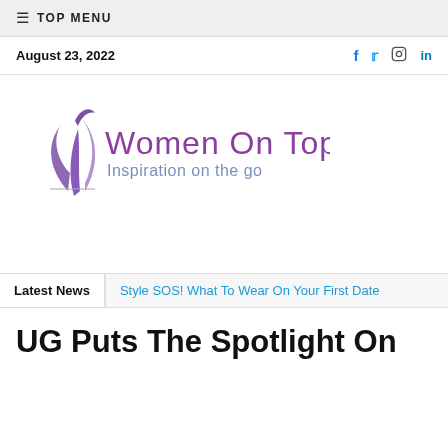≡ TOP MENU
August 23, 2022
[Figure (logo): Women On Top – Inspiration on the go logo with stylized purple figure]
Latest News   Style SOS! What To Wear On Your First Date
UG Puts The Spotlight On